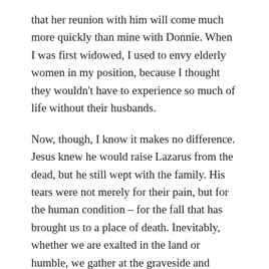that her reunion with him will come much more quickly than mine with Donnie. When I was first widowed, I used to envy elderly women in my position, because I thought they wouldn't have to experience so much of life without their husbands.
Now, though, I know it makes no difference. Jesus knew he would raise Lazarus from the dead, but he still wept with the family. His tears were not merely for their pain, but for the human condition – for the fall that has brought us to a place of death. Inevitably, whether we are exalted in the land or humble, we gather at the graveside and mourn for what the great leveller has removed.
Jesus – the Queen's Saviour and mine – was displaying empathy. He was shedding tears for mankind, for the sin